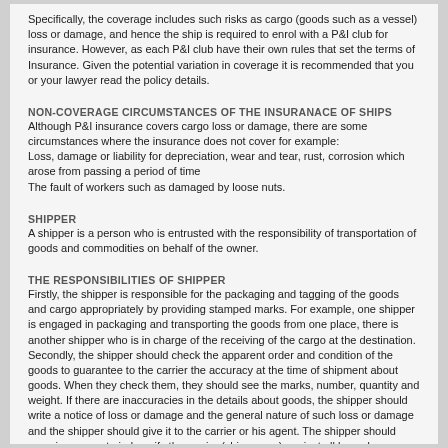Specifically, the coverage includes such risks as cargo (goods such as a vessel) loss or damage, and hence the ship is required to enrol with a P&I club for insurance. However, as each P&I club have their own rules that set the terms of Insurance. Given the potential variation in coverage it is recommended that you or your lawyer read the policy details.
NON-COVERAGE CIRCUMSTANCES OF THE INSURANACE OF SHIPS
Although P&I insurance covers cargo loss or damage, there are some circumstances where the insurance does not cover for example:
Loss, damage or liability for depreciation, wear and tear, rust, corrosion which arose from passing a period of time
The fault of workers such as damaged by loose nuts.
SHIPPER
A shipper is a person who is entrusted with the responsibility of transportation of goods and commodities on behalf of the owner.
THE RESPONSIBILITIES OF SHIPPER
Firstly, the shipper is responsible for the packaging and tagging of the goods and cargo appropriately by providing stamped marks. For example, one shipper is engaged in packaging and transporting the goods from one place, there is another shipper who is in charge of the receiving of the cargo at the destination.
Secondly, the shipper should check the apparent order and condition of the goods to guarantee to the carrier the accuracy at the time of shipment about goods. When they check them, they should see the marks, number, quantity and weight. If there are inaccuracies in the details about goods, the shipper should write a notice of loss or damage and the general nature of such loss or damage and the shipper should give it to the carrier or his agent. The shipper should carry insurance to indemnify the carrier (ship-owner) against all loss, damages and expenses.
INSURANCES OF SHIPPER TO COVER NON-COVERAGE OF THE CARRIER'S INSURANCES
There is optional insurance for a shipper, that is cargo insurance called ‘first party’ insurance or ‘shipper’s interest’ insurance. This insurance covers the shipper against loss arising in relation to his goods.
Although P&I insurances covers loss or damage to cargo in most situations even including war risks and disaster risks normally, there may be some circumstances where P&I could not cover. For example, the carrier damaged the cargo by their own fault. Then, P&I will not cover this damage but the carrier (ship-owner) is liable for it. However, due to the limitation of the liability, the shipper may not be fully compensated about the cargo damage. This means that there is no guarantee of